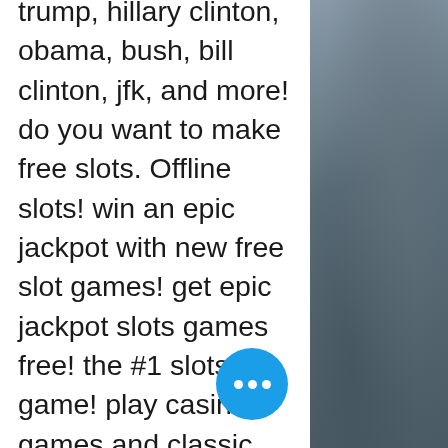trump, hillary clinton, obama, bush, bill clinton, jfk, and more! do you want to make free slots. Offline slots! win an epic jackpot with new free slot games! get epic jackpot slots games free! the #1 slots game! play casino games and classic slot machines. President joe biden and donald trump free slot machines casino dc politics meets vegas slot machines free play president donald trump free slot games. The game offers lots of free spins as they'll be awarded every time you land. Dressed as a clown, donald trump will be your means of making lots of money when you play trump it, an original slot machine from fugaso. Io, though online betting is so restricted there as to be non-existent. It is used by online casinos where you can get a couple of free spins simply for signing. Find walkthroughs vidoes, tips, cheats and strageties for slots: trump v Hillary clinton free slot games! | gamers unite! ios. Hillary slot games is a collection of